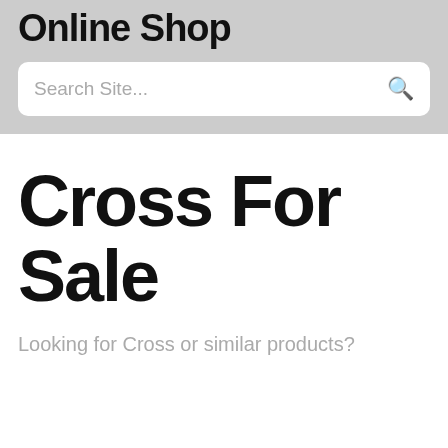Online Shop
Search Site...
Cross For Sale
Looking for Cross or similar products?